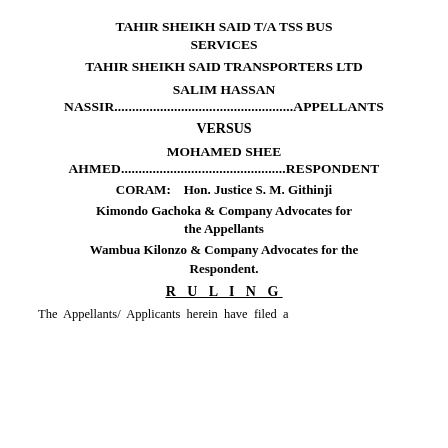TAHIR SHEIKH SAID T/A TSS BUS SERVICES
TAHIR SHEIKH SAID TRANSPORTERS LTD
SALIM HASSAN NASSIR....................................................APPELLANTS
VERSUS
MOHAMED SHEE AHMED.................................................RESPONDENT
CORAM:    Hon. Justice S. M. Githinji
Kimondo Gachoka & Company Advocates for the Appellants
Wambua Kilonzo & Company Advocates for the Respondent.
R U L I N G
The Appellants/ Applicants herein have filed a